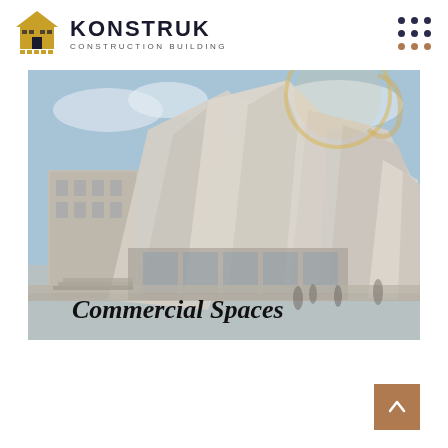[Figure (logo): Konstruk Construction Building logo with house/roof icon in gold and brand name in dark navy]
[Figure (photo): Photo of a modern commercial building with sweeping stainless steel curved panels (Walt Disney Concert Hall style) under a blue sky, with the text 'Commercial Spaces' overlaid at the bottom]
[Figure (other): Back-to-top button: tan/brown square with upward-pointing chevron arrow]